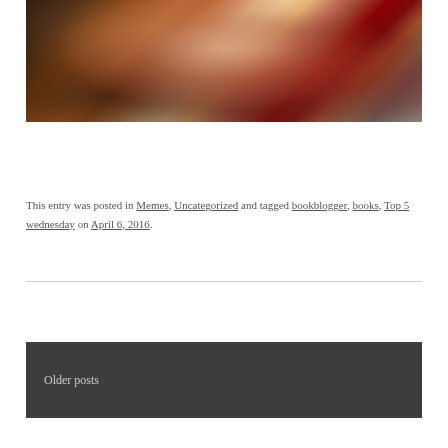[Figure (photo): A young woman with light hair wearing a red turtleneck sweater, holding up her hand, photographed in a dimly lit setting with a textured background.]
This entry was posted in Memes, Uncategorized and tagged bookblogger, books, Top 5 wednesday on April 6, 2016.
Older posts